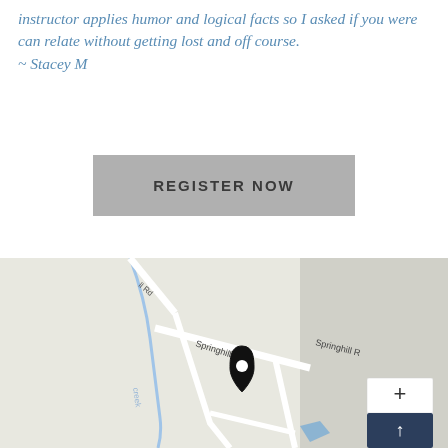instructor applies humor and logical facts so I asked if you were can relate without getting lost and off course. ~ Stacey M
REGISTER NOW
[Figure (map): Street map showing Springhill Rd area with a location pin marker in the center. Map includes road labels: 'Springhill Rd', 'Springhill R', 'll Rd', 'creek'. White roads on grey background with a blue water feature (creek) and a blue highlighted area. Map controls with + zoom button and a navigation arrow button visible in bottom right.]